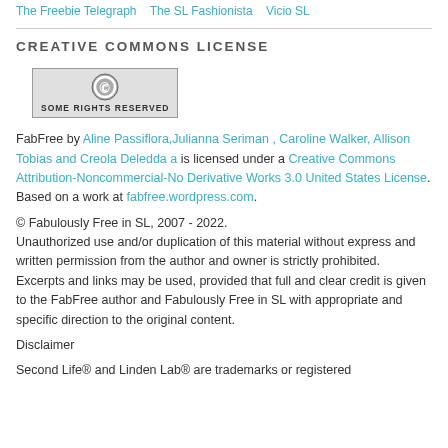The Freebie Telegraph   The SL Fashionista   Vicio SL
CREATIVE COMMONS LICENSE
[Figure (logo): Creative Commons 'Some Rights Reserved' badge with CC circle logo]
FabFree by Aline Passiflora,Julianna Seriman , Caroline Walker, Allison Tobias and Creola Deledda a is licensed under a Creative Commons Attribution-Noncommercial-No Derivative Works 3.0 United States License.
Based on a work at fabfree.wordpress.com.
© Fabulously Free in SL, 2007 - 2022.
Unauthorized use and/or duplication of this material without express and written permission from the author and owner is strictly prohibited. Excerpts and links may be used, provided that full and clear credit is given to the FabFree author and Fabulously Free in SL with appropriate and specific direction to the original content.
Disclaimer
Second Life® and Linden Lab® are trademarks or registered